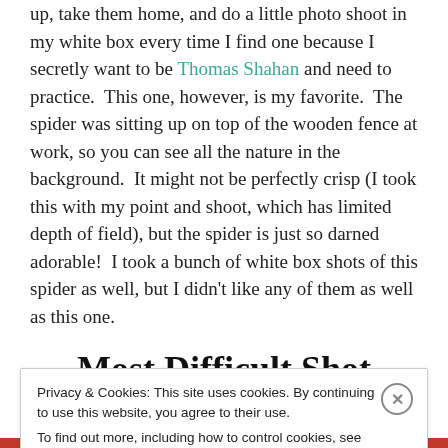up, take them home, and do a little photo shoot in my white box every time I find one because I secretly want to be Thomas Shahan and need to practice.  This one, however, is my favorite.  The spider was sitting up on top of the wooden fence at work, so you can see all the nature in the background.  It might not be perfectly crisp (I took this with my point and shoot, which has limited depth of field), but the spider is just so darned adorable!  I took a bunch of white box shots of this spider as well, but I didn't like any of them as well as this one.
Most Difficult Shot
Privacy & Cookies: This site uses cookies. By continuing to use this website, you agree to their use.
To find out more, including how to control cookies, see here: Cookie Policy